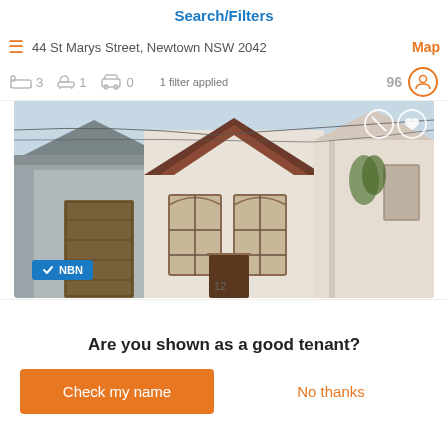Search/Filters
44 St Marys Street, Newtown NSW 2042
1 filter applied
96
[Figure (photo): Terrace house exterior in Newtown NSW, white facade with brown timber peaked roof gable, two tall barred windows, number 12, with NBN badge overlay]
$820
Are you shown as a good tenant?
Check my name
No thanks